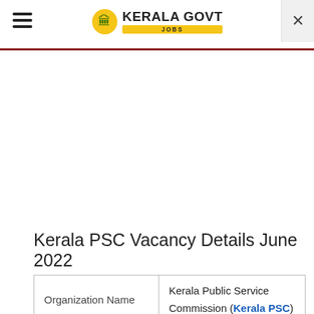Kerala Govt Jobs
Kerala PSC Vacancy Details June 2022
| Organization Name | Kerala Public Service Commission (Kerala PSC) |
| --- | --- |
| Organization Name | Kerala Public Service Commission (Kerala PSC) |